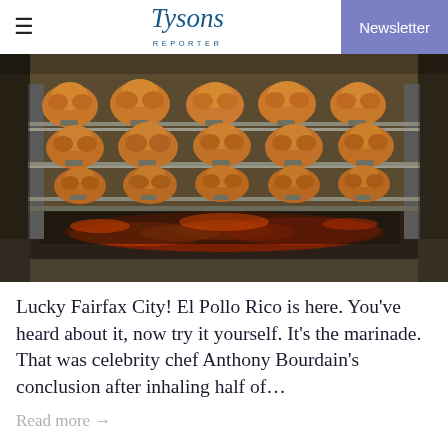Tysons Reporter | Newsletter
[Figure (photo): Rotisserie chickens cooking on multiple spits over glowing charcoal embers in a commercial roaster]
Lucky Fairfax City! El Pollo Rico is here. You’ve heard about it, now try it yourself. It’s the marinade. That was celebrity chef Anthony Bourdain’s conclusion after inhaling half of…
Read more →